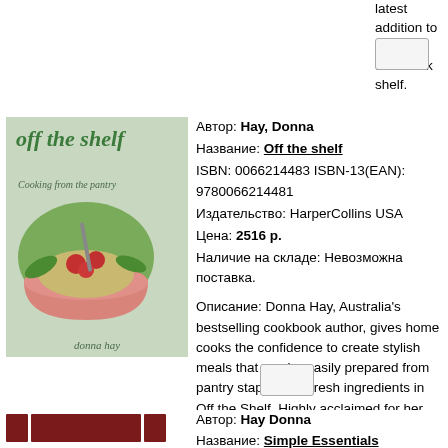latest addition to the cookbook shelf.
[Figure (other): Button/UI element]
[Figure (photo): Book cover: off the shelf, Cooking from the pantry by donna hay, showing a pink bowl with pasta and tomatoes]
Автор: Hay, Donna
Название: Off the shelf
ISBN: 0066214483 ISBN-13(EAN): 9780066214481
Издательство: HarperCollins USA
Цена: 2516 р.
Наличие на складе: Невозможна поставка.

Описание: Donna Hay, Australia's bestselling cookbook author, gives home cooks the confidence to create stylish meals that can be easily prepared from pantry staples and fresh ingredients in Off the Shelf. Highly acclaimed for her distinct style of simplicity and elegance, this collection of 150 recipes is versatile enough for weekday dining and casual entertaining.
[Figure (other): Button/UI element]
[Figure (photo): Book cover: Simple Essentials Chocolate by Hay Donna, showing dark chocolate blocks]
Автор: Hay Donna
Название: Simple Essentials Chocolate
ISBN: 006156902X ISBN-13(EAN): 9780061569029